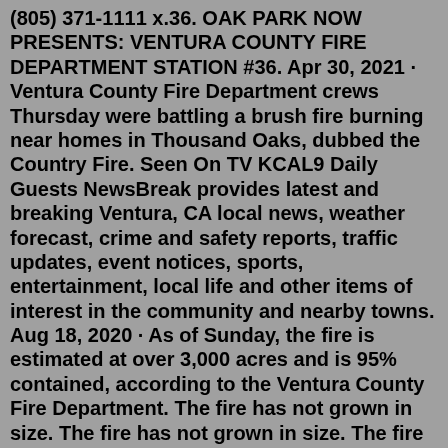(805) 371-1111 x.36. OAK PARK NOW PRESENTS: VENTURA COUNTY FIRE DEPARTMENT STATION #36. Apr 30, 2021 · Ventura County Fire Department crews Thursday were battling a brush fire burning near homes in Thousand Oaks, dubbed the Country Fire. Seen On TV KCAL9 Daily Guests NewsBreak provides latest and breaking Ventura, CA local news, weather forecast, crime and safety reports, traffic updates, event notices, sports, entertainment, local life and other items of interest in the community and nearby towns. Aug 18, 2020 · As of Sunday, the fire is estimated at over 3,000 acres and is 95% contained, according to the Ventura County Fire Department. The fire has not grown in size. The fire has not grown in size. The fire ignited on November 8, 2018, and burned 96,949 acres (39,234 hectares) of land. Woolsey Fire Coordinates 34.2350°N 118.7013°W Statistics Cost $6 billion (2018 USD) Date(s) November 8–21, 2018. Is there a fire near Oxnard CA? Oxnard Fire Dept. Victoria Inc – there is currently a fire burning in the Santa Clara river